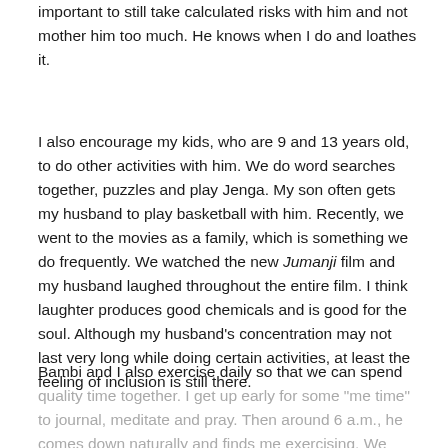important to still take calculated risks with him and not mother him too much. He knows when I do and loathes it.
I also encourage my kids, who are 9 and 13 years old, to do other activities with him. We do word searches together, puzzles and play Jenga. My son often gets my husband to play basketball with him. Recently, we went to the movies as a family, which is something we do frequently. We watched the new Jumanji film and my husband laughed throughout the entire film. I think laughter produces good chemicals and is good for the soul. Although my husband's concentration may not last very long while doing certain activities, at least the feeling of inclusion is still there.
Bambi and I also exercise daily so that we can spend quality time together. I get up early for some “me time” to journal, meditate and pray. Then around 6 a.m., he comes down naturally and finds me exercising. We